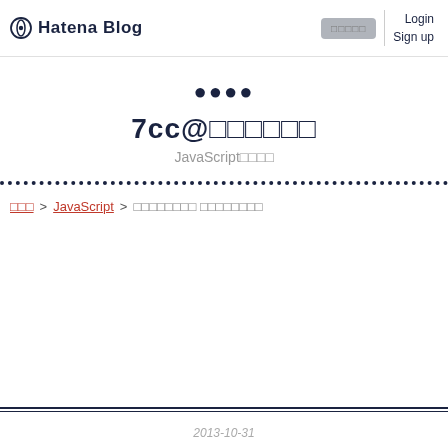Hatena Blog | Login | Sign up
[Figure (logo): Hatena Blog logo with circular icon and text]
7cc@ろぐろぐろぐ
JavaScriptごった煮
ろぐ > JavaScript > ろぐろぐろぐ ろぐろぐろぐろぐ
2013-10-31